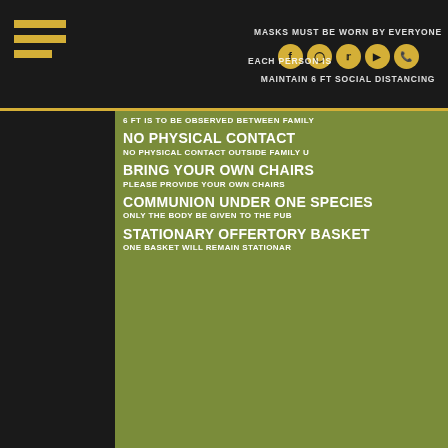[Figure (screenshot): Top navigation bar with hamburger menu icon in gold, social media icons (Facebook, Instagram, Twitter, YouTube, Phone) on dark background, with text: MASKS MUST BE WORN BY EVERYONE, EACH PERSON IS [cut off], MAINTAIN 6 FT SOCIAL DISTANCING]
6 FT IS TO BE OBSERVED BETWEEN FAMILY
NO PHYSICAL CONTACT
NO PHYSICAL CONTACT OUTSIDE FAMILY U
BRING YOUR OWN CHAIRS
PLEASE PROVIDE YOUR OWN CHAIRS
COMMUNION UNDER ONE SPECIES
ONLY THE BODY BE GIVEN TO THE PUB
STATIONARY OFFERTORY BASKET
ONE BASKET WILL REMAIN STATIONAR
IMPORTANT THERE IS STILL NO OBLIGATION FOR SUN IF YOU ARE SICK, IMMUNODEFICIENT, OR CARE FOR SOMEO STRONGLY ENCOURAGED THAT YOU AVOID PUTTING YOURSELF
Bishop Shelton J. Fabre has announced that the celebration of outdo this upcoming weekend, May 9 and 10, in the Diocese of Houma-Thib days after Governor John Bel Edwards announced that he would allo celebrations, and the State Fire Marshal issued strict guidelines for th
“Our people need hope at this time, and the Lord clearly called out to during these difficult weeks in alternative ways,” says Bishop Fabre. “H